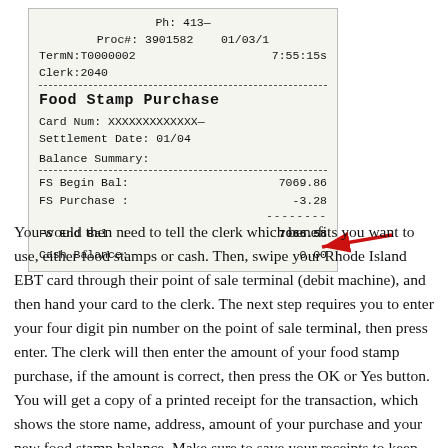[Figure (photo): A food stamp EBT receipt showing Ph: 413—, Proc#: 3901582, TermN: T0000002, Clerk: 2040, date 01/03, time 7:55:15, Food Stamp Purchase, Card Num: XXXXXXXXXXXXX, Settlement Date: 01/04, Balance Summary, FS Begin Bal: 7069.86, FS Purchase: -3.28, FS End Bal: 7066.58 (with red arrow pointing to it), Cash Balance: 0.00]
You would then need to tell the clerk which benefits you want to use, either food stamps or cash. Then, swipe your Rhode Island EBT card through their point of sale terminal (debit machine), and then hand your card to the clerk. The next step requires you to enter your four digit pin number on the point of sale terminal, then press enter. The clerk will then enter the amount of your food stamp purchase, if the amount is correct, then press the OK or Yes button. You will get a copy of a printed receipt for the transaction, which shows the store name, address, amount of your purchase and your new food stamp balance. Make sure to save your receipts to keep track of your